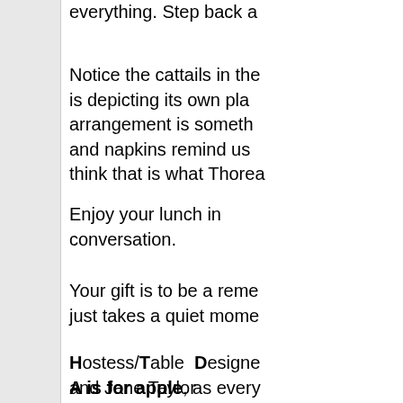everything. Step back a
Notice the cattails in the is depicting its own pla arrangement is someth and napkins remind us think that is what Thorea
Enjoy your lunch in conversation.
Your gift is to be a reme just takes a quiet mome
Hostess/Table Designe and Jane Taylor
A is for apple, as every
It started, they say, wit